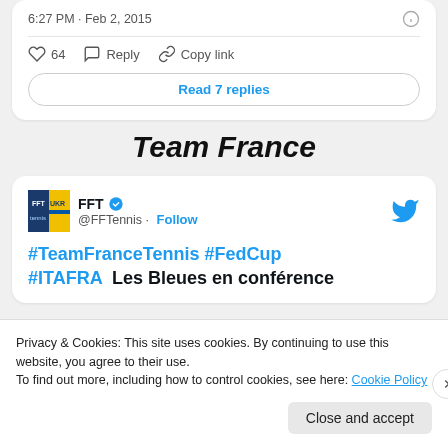6:27 PM · Feb 2, 2015
64  Reply  Copy link
Read 7 replies
Team France
FFT @FFTTennis · Follow
#TeamFranceTennis #FedCup #ITAFRA  Les Bleues en conférence
Privacy & Cookies: This site uses cookies. By continuing to use this website, you agree to their use.
To find out more, including how to control cookies, see here: Cookie Policy
Close and accept